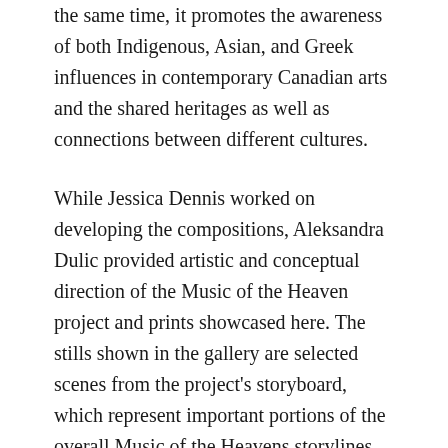the same time, it promotes the awareness of both Indigenous, Asian, and Greek influences in contemporary Canadian arts and the shared heritages as well as connections between different cultures.
While Jessica Dennis worked on developing the compositions, Aleksandra Dulic provided artistic and conceptual direction of the Music of the Heaven project and prints showcased here. The stills shown in the gallery are selected scenes from the project's storyboard, which represent important portions of the overall Music of the Heavens storylines.
The prints are the result of a collaborative effort.